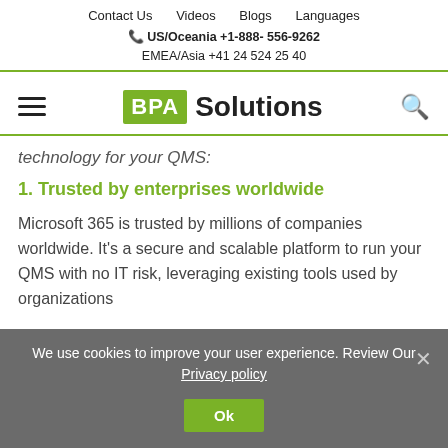Contact Us   Videos   Blogs   Languages
📞 US/Oceania +1-888- 556-9262
EMEA/Asia +41 24 524 25 40
[Figure (logo): BPA Solutions logo with hamburger menu on left and search icon on right]
technology for your QMS:
1. Trusted by enterprises worldwide
Microsoft 365 is trusted by millions of companies worldwide. It's a secure and scalable platform to run your QMS with no IT risk, leveraging existing tools used by organizations
We use cookies to improve your user experience. Review Our Privacy policy
Ok